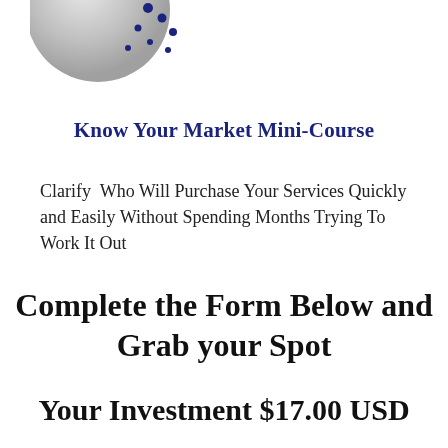[Figure (logo): Circular logo with gray sphere and dark blue dots scattered around upper right, partial view at top of page]
Know Your Market Mini-Course
Clarify  Who Will Purchase Your Services Quickly and Easily Without Spending Months Trying To Work It Out
Complete the Form Below and Grab your Spot
Your Investment $17.00 USD